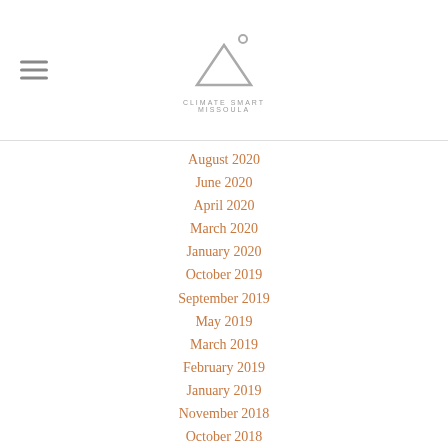[Figure (logo): Climate Smart Missoula logo: triangle with degree symbol above and text 'CLIMATE SMART MISSOULA' below]
August 2020
June 2020
April 2020
March 2020
January 2020
October 2019
September 2019
May 2019
March 2019
February 2019
January 2019
November 2018
October 2018
August 2018
June 2018
April 2018
March 2018
February 2018